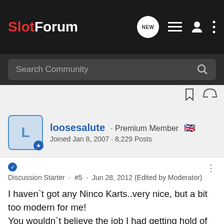SlotForum
loosesalute · Premium Member 🇬🇧
Joined Jan 8, 2007 · 8,229 Posts
Discussion Starter · #5 · Jun 28, 2012 (Edited by Moderator)
I haven`t got any Ninco Karts..very nice, but a bit too modern for me!
You wouldn`t believe the job I had getting hold of the Jouef Kart.
Great info Phil !
Cheers